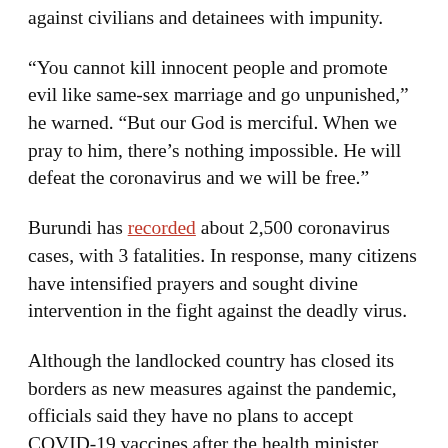against civilians and detainees with impunity.
“You cannot kill innocent people and promote evil like same-sex marriage and go unpunished,” he warned. “But our God is merciful. When we pray to him, there’s nothing impossible. He will defeat the coronavirus and we will be free.”
Burundi has recorded about 2,500 coronavirus cases, with 3 fatalities. In response, many citizens have intensified prayers and sought divine intervention in the fight against the deadly virus.
Although the landlocked country has closed its borders as new measures against the pandemic, officials said they have no plans to accept COVID-19 vaccines after the health minister, Thaddee